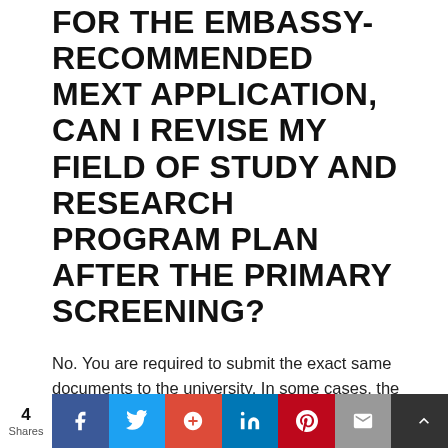FOR THE EMBASSY-RECOMMENDED MEXT APPLICATION, CAN I REVISE MY FIELD OF STUDY AND RESEARCH PROGRAM PLAN AFTER THE PRIMARY SCREENING?
No. You are required to submit the exact same documents to the university. In some cases, the documents will be stamped with the embassy's seal to verify that they are unaltered.
You can add supporting material, but it may or may not be accepted.
DO YOU HAVE QUESTIONS